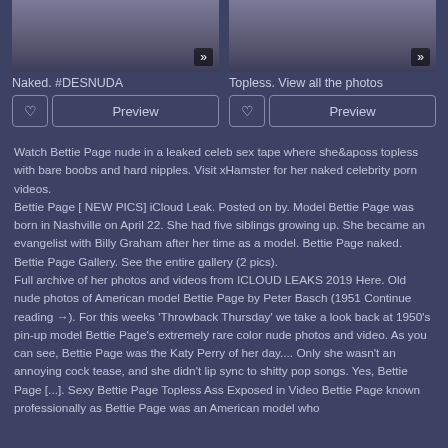[Figure (photo): Thumbnail image left - partial figure photo with play/expand button overlay]
Naked. #DESNUDA
[Figure (photo): Thumbnail image right - partial figure photo with play/expand button overlay]
Topless. View all the photos
Watch Bettie Page nude in a leaked celeb sex tape where she&aposs topless with bare boobs and hard nipples. Visit xHamster for her naked celebrity porn videos.
Bettie Page [ NEW PICS] iCloud Leak. Posted on by. Model Bettie Page was born in Nashville on April 22. She had five siblings growing up. She became an evangelist with Billy Graham after her time as a model. Bettie Page naked. Bettie Page Gallery. See the entire gallery (2 pics).
Full archive of her photos and videos from ICLOUD LEAKS 2019 Here. Old nude photos of American model Bettie Page by Peter Basch (1951 Continue reading →). For this weeks 'Throwback Thursday' we take a look back at 1950's pin-up model Bettie Page's extremely rare color nude photos and video. As you can see, Bettie Page was the Katy Perry of her day.... Only she wasn't an annoying cock tease, and she didn't lip sync to shitty pop songs. Yes, Bettie Page [...]. Sexy Bettie Page Topless Ass Exposed in Video Bettie Page known professionally as Bettie Page was an American model who